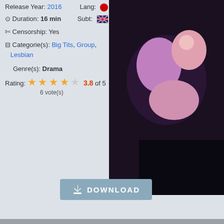Release Year: 2016   Lang: 🔴
Duration: 16 min   Subt: 🇬🇧
Censorship: Yes
Categorie(s): Big Tits, Group, Lesbian
Genre(s): Drama
Rating: ★★★★☆ 3.8 of 5  6 vote(s)
DOWNLOAD
[Figure (illustration): Anime/manga style adult content cover image - Kowaremono Risa]
Kowaremono Risa: v
Based on the erotic manga by Yoshiro
[Figure (illustration): Anime scene with male character in blue uniform]